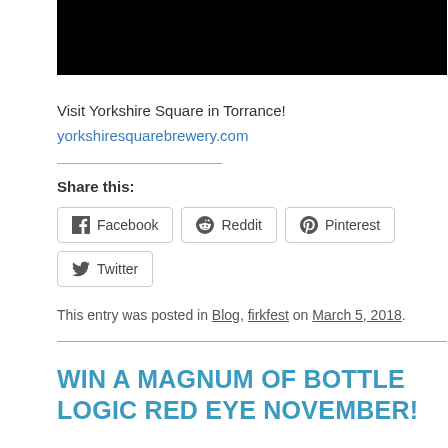[Figure (photo): Black rectangular image at top of page]
Visit Yorkshire Square in Torrance!
yorkshiresquarebrewery.com
Share this:
Facebook  Reddit  Pinterest  Twitter
This entry was posted in Blog, firkfest on March 5, 2018.
WIN A MAGNUM OF BOTTLE LOGIC RED EYE NOVEMBER!